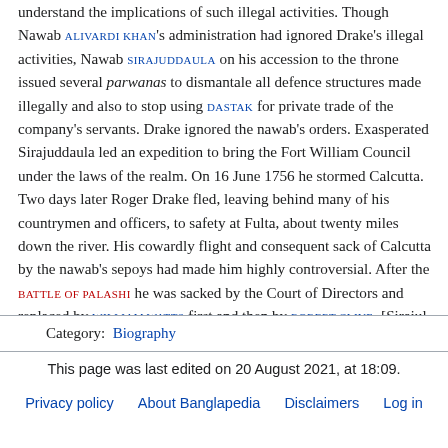understand the implications of such illegal activities. Though Nawab ALIVARDI KHAN's administration had ignored Drake's illegal activities, Nawab SIRAJUDDAULA on his accession to the throne issued several parwanas to dismantale all defence structures made illegally and also to stop using DASTAK for private trade of the company's servants. Drake ignored the nawab's orders. Exasperated Sirajuddaula led an expedition to bring the Fort William Council under the laws of the realm. On 16 June 1756 he stormed Calcutta. Two days later Roger Drake fled, leaving behind many of his countrymen and officers, to safety at Fulta, about twenty miles down the river. His cowardly flight and consequent sack of Calcutta by the nawab's sepoys had made him highly controversial. After the BATTLE OF PALASHI he was sacked by the Court of Directors and replaced by WILLIAM WATTS first and then by ROBERT CLIVE. [Sirajul Islam]
| Category: | Biography |
| --- | --- |
This page was last edited on 20 August 2021, at 18:09.
Privacy policy   About Banglapedia   Disclaimers   Log in